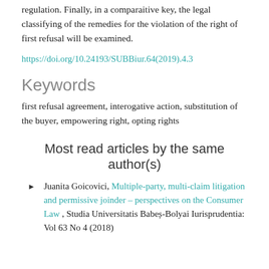regulation. Finally, in a comparaitive key, the legal classifying of the remedies for the violation of the right of first refusal will be examined.
https://doi.org/10.24193/SUBBiur.64(2019).4.3
Keywords
first refusal agreement, interogative action, substitution of the buyer, empowering right, opting rights
Most read articles by the same author(s)
Juanita Goicovici, Multiple-party, multi-claim litigation and permissive joinder – perspectives on the Consumer Law , Studia Universitatis Babeș-Bolyai Iurisprudentia: Vol 63 No 4 (2018)